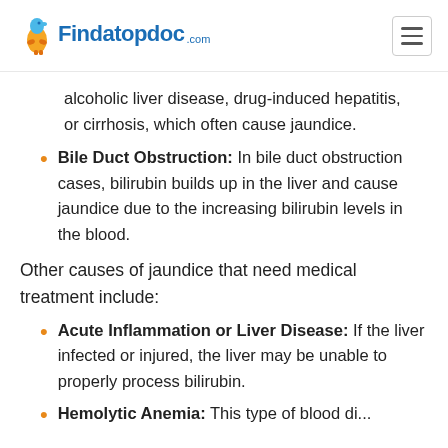Findatopdoc.com
alcoholic liver disease, drug-induced hepatitis, or cirrhosis, which often cause jaundice.
Bile Duct Obstruction: In bile duct obstruction cases, bilirubin builds up in the liver and cause jaundice due to the increasing bilirubin levels in the blood.
Other causes of jaundice that need medical treatment include:
Acute Inflammation or Liver Disease: If the liver infected or injured, the liver may be unable to properly process bilirubin.
Hemolytic Anemia: This type of blood disease...